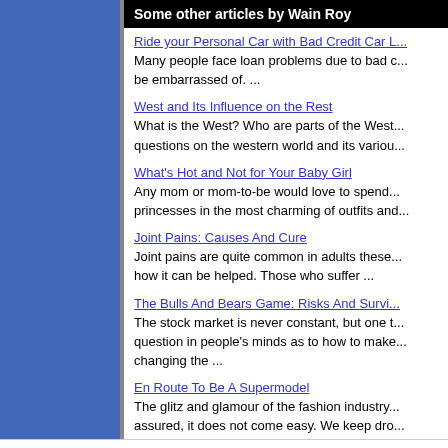Some other articles by Wain Roy
Ride your Personal Car with Bad Credit Car L... — Many people face loan problems due to bad c... be embarrassed of. ...
West and Its Influence on the Rest — What is the West? Who are parts of the West... questions on the western world and its variou...
What's Hot and Not for Your Baby Girl — Any mom or mom-to-be would love to spend... princesses in the most charming of outfits and...
Joint Pains: Causes And Cure — Joint pains are quite common in adults these... how it can be helped. Those who suffer ...
The Bulls And Bears Game: Risks And Survi... — The stock market is never constant, but one t... question in people's minds as to how to make... changing the ...
En Route To Be A Supermodel — The glitz and glamour of the fashion industry... assured, it does not come easy. We keep dro...